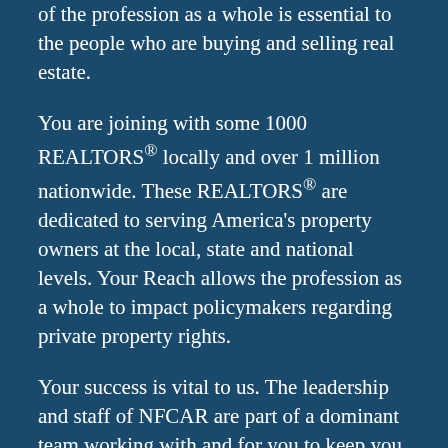of the profession as a whole is essential to the people who are buying and selling real estate.
You are joining with some 1000 REALTORS® locally and over 1 million nationwide. These REALTORS® are dedicated to serving America's property owners at the local, state and national levels. Your Reach allows the profession as a whole to impact policymakers regarding private property rights.
Your success is vital to us. The leadership and staff of NFCAR are part of a dominant team working with and for you to keep you Relevant to the consumer. Your trust in us and your fellow REALTORS® makes working in the marketplace smoother and more predictable.
Just as the real estate profession is ever-changing,